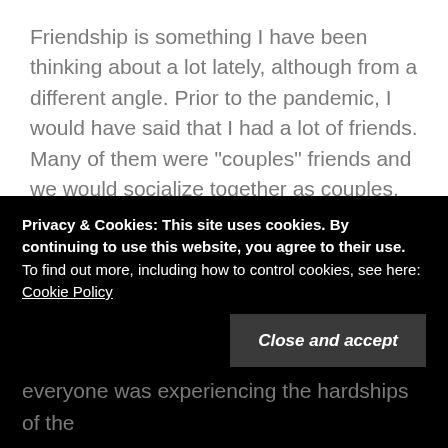Friendship is something I have been thinking about a lot lately, although from a different angle. Prior to the pandemic, I would have said that I had a lot of friends. Many of them were "couples" friends and we would socialize together as couples.
When the pandemic hit, on the one hand, friendship became more valuable than ever, but on the other hand, it felt way less accessible. Socializing in person was no longer an option and I was not interested in video chats/virtual
Privacy & Cookies: This site uses cookies. By continuing to use this website, you agree to their use. To find out more, including how to control cookies, see here: Cookie Policy
everyone was experiencing the hardships of the